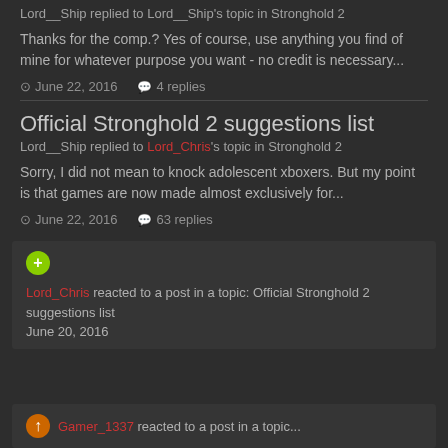Lord__Ship replied to Lord__Ship's topic in Stronghold 2
Thanks for the comp.? Yes of course, use anything you find of mine for whatever purpose you want - no credit is necessary...
June 22, 2016   4 replies
Official Stronghold 2 suggestions list
Lord__Ship replied to Lord_Chris's topic in Stronghold 2
Sorry, I did not mean to knock adolescent xboxers. But my point is that games are now made almost exclusively for...
June 22, 2016   63 replies
Lord_Chris reacted to a post in a topic: Official Stronghold 2 suggestions list June 20, 2016
Gamer_1337 reacted to a post in a topic...